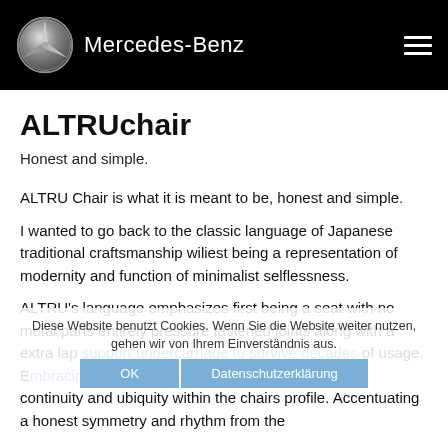Mercedes-Benz
ALTRUchair
Honest and simple.
ALTRU Chair is what it is meant to be, honest and simple.
I wanted to go back to the classic language of Japanese traditional craftsmanship wiliest being a representation of modernity and function of minimalist selflessness.
ALTRU's language emphasizes first being a seat with no metal parts entirely pressure fastened joints along with a extra lap support undercarriage to survive decades of usage. Embracing the pure nature of the wood I highlighted continuity and ubiquity within the chairs profile. Accentuating a honest symmetry and rhythm from the
Diese Website benutzt Cookies. Wenn Sie die Website weiter nutzen, gehen wir von Ihrem Einverständnis aus.
OK    Datenschutzerklärung